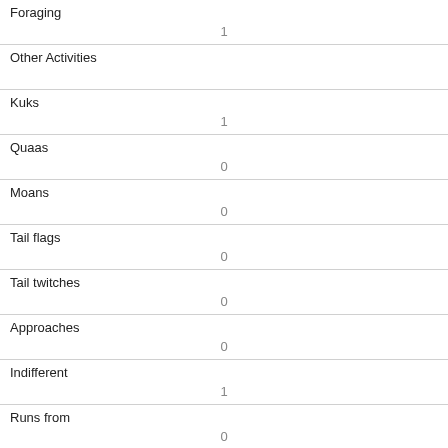| Field | Value |
| --- | --- |
| Foraging | 1 |
| Other Activities |  |
| Kuks | 1 |
| Quaas | 0 |
| Moans | 0 |
| Tail flags | 0 |
| Tail twitches | 0 |
| Approaches | 0 |
| Indifferent | 1 |
| Runs from | 0 |
| Other Interactions |  |